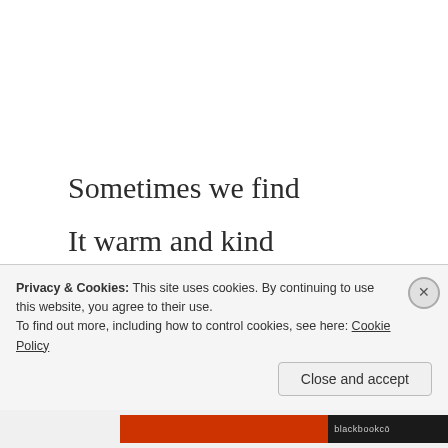Sometimes we find
It warm and kind
Sometimes our mind
Fills with sorrow
Privacy & Cookies: This site uses cookies. By continuing to use this website, you agree to their use.
To find out more, including how to control cookies, see here: Cookie Policy
Close and accept